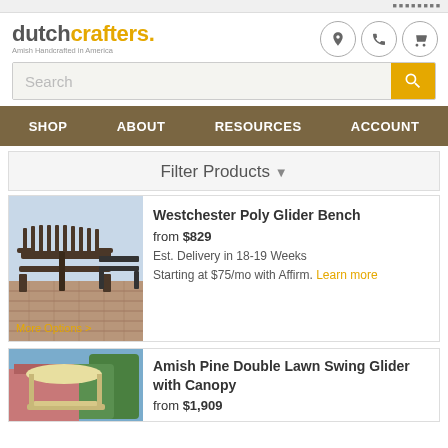[Figure (screenshot): DutchCrafters website screenshot showing logo, search bar, navigation, filter bar, and two product listings for outdoor furniture.]
dutchcrafters. Amish Handcrafted in America
Search
SHOP  ABOUT  RESOURCES  ACCOUNT
Filter Products ▾
Westchester Poly Glider Bench
from $829
Est. Delivery in 18-19 Weeks
Starting at $75/mo with Affirm. Learn more
More Options >
Amish Pine Double Lawn Swing Glider with Canopy
from $1,909